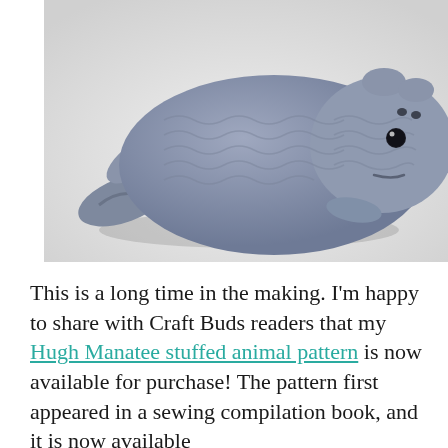[Figure (photo): A crocheted amigurumi manatee stuffed animal in blue-grey yarn, photographed on a white background. The manatee has black bead eyes, small flipper-like appendages, and a rounded body with visible crochet stitches throughout.]
This is a long time in the making. I'm happy to share with Craft Buds readers that my Hugh Manatee stuffed animal pattern is now available for purchase! The pattern first appeared in a sewing compilation book, and it is now available